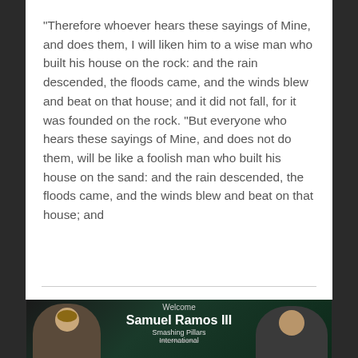"Therefore whoever hears these sayings of Mine, and does them, I will liken him to a wise man who built his house on the rock: and the rain descended, the floods came, and the winds blew and beat on that house; and it did not fall, for it was founded on the rock. "But everyone who hears these sayings of Mine, and does not do them, will be like a foolish man who built his house on the sand: and the rain descended, the floods came, and the winds blew and beat on that house; and
[Figure (screenshot): Video thumbnail showing two people with a welcome banner displaying 'Welcome Samuel Ramos III Smashing Pillars International']